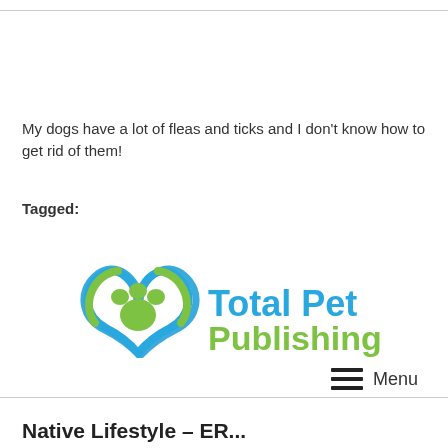My dogs have a lot of fleas and ticks and I don't know how to get rid of them!
Tagged:
[Figure (logo): Total Pet Publishing logo with paw print icon and tagline 'for the pet owner's journey']
Menu
Native Lifestyle - ER...